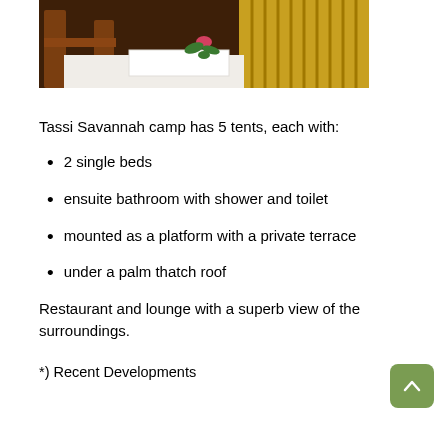[Figure (photo): Photo of a wooden bed frame with white bedding and yellow rolled items in the background, with a green plant decoration.]
Tassi Savannah camp has 5 tents, each with:
2 single beds
ensuite bathroom with shower and toilet
mounted as a platform with a private terrace
under a palm thatch roof
Restaurant and lounge with a superb view of the surroundings.
*) Recent Developments